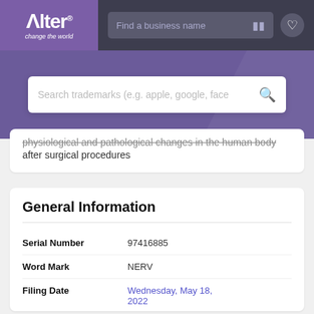[Figure (screenshot): Alter trademark search website top navigation bar with purple logo box showing 'Alter change the world', a search field 'Find a business name' with filter icon, and a heart icon on dark background]
[Figure (screenshot): Purple banner with large search box reading 'Search trademarks (e.g. apple, google, face' with magnifier icon]
physiological and pathological changes in the human body after surgical procedures
General Information
| Field | Value |
| --- | --- |
| Serial Number | 97416885 |
| Word Mark | NERV |
| Filing Date | Wednesday, May 18, 2022 |